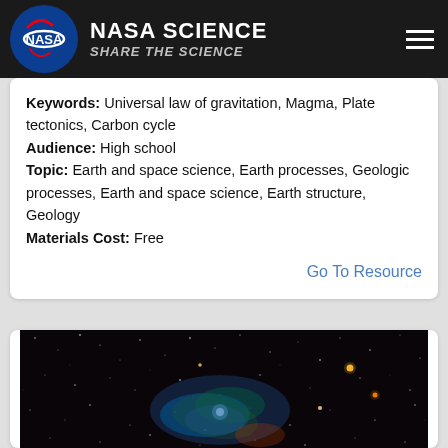NASA SCIENCE | SHARE THE SCIENCE
Keywords: Universal law of gravitation, Magma, Plate tectonics, Carbon cycle
Audience: High school
Topic: Earth and space science, Earth processes, Geologic processes, Earth and space science, Earth structure, Geology
Materials Cost: Free
Go To Resource
[Figure (photo): Space/galaxy photograph showing stars and nebula on dark background]